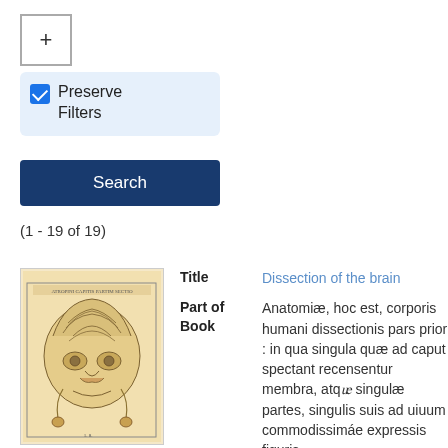[Figure (screenshot): Plus (+) button UI element, square outlined button]
Preserve Filters
Search
(1 - 19 of 19)
[Figure (illustration): Historical anatomical illustration showing a dissection of the brain, engraving style on yellowish background]
Title
Dissection of the brain
Part of Book
Anatomiæ, hoc est, corporis humani dissectionis pars prior : in qua singula quæ ad caput spectant recensentur membra, atqᵫ singulæ partes, singulis suis ad uiuum commodissimáe expressis figuris, deliniuntur; omnis recens